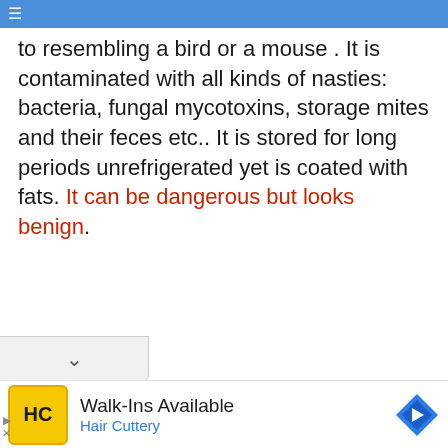≡
to resembling a bird or a mouse . It is contaminated with all kinds of nasties: bacteria, fungal mycotoxins, storage mites and their feces etc.. It is stored for long periods unrefrigerated yet is coated with fats. It can be dangerous but looks benign.
[Figure (other): Collapsed section chevron/tab UI element]
[Figure (other): Advertisement for Hair Cuttery: Walk-Ins Available, with HC logo and navigation icon]